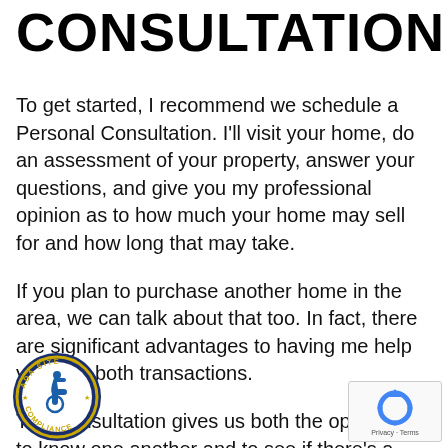CONSULTATION
To get started, I recommend we schedule a Personal Consultation. I'll visit your home, do an assessment of your property, answer your questions, and give you my professional opinion as to how much your home may sell for and how long that may take.
If you plan to purchase another home in the area, we can talk about that too. In fact, there are significant advantages to having me help you with both transactions.
This consultation gives us both the opportunity to know one another and to see if there's a ... You'll learn how I work, how I market a ... es, and how I attend to my clients' nee...
[Figure (logo): ADA Site Compliance badge — circular badge with wheelchair accessibility symbol and text 'ADA SITE COMPLIANCE' around the border with stars]
[Figure (logo): Google reCAPTCHA badge — blue recycling-arrow icon with 'Privacy - Terms' text below]